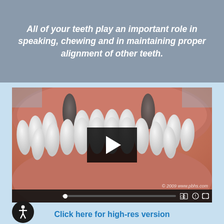All of your teeth play an important role in speaking, chewing and in maintaining proper alignment of other teeth.
[Figure (screenshot): A 3D dental animation screenshot showing a close-up of teeth with a missing tooth gap, with a video play button overlay and controls bar. Copyright 2009 www.pbhs.com shown in lower right. Accessibility icon and video controls visible at bottom.]
Click here for high-res version